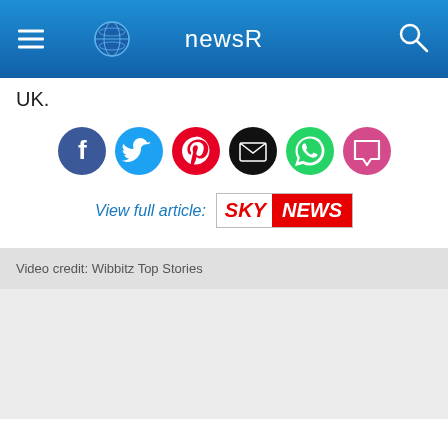newsR
UK.
[Figure (other): Social sharing icons: Facebook, Twitter, Pinterest, Email, WhatsApp, Chat]
View full article: SKY NEWS
Video credit: Wibbitz Top Stories